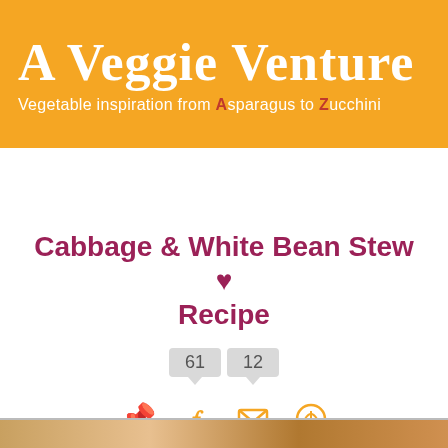A Veggie Venture – Vegetable inspiration from Asparagus to Zucchini
[Figure (screenshot): Navigation bar with Home, Recipe Box, More dropdown, and search icon on a dark magenta background]
Cabbage & White Bean Stew ♥ Recipe
61  12
[Figure (infographic): Social sharing icons: Pinterest, Facebook, Email, and a circular share icon, all in orange]
December 28, 2008
[Figure (photo): Partial view of a photo strip at the bottom of the page]